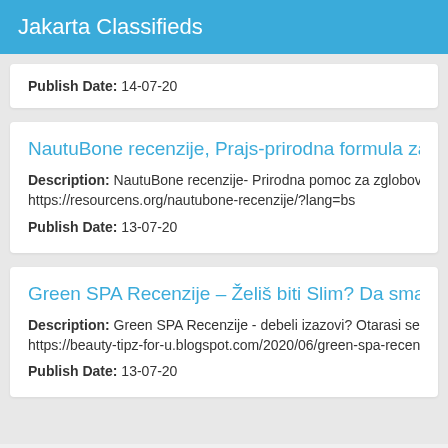Jakarta Classifieds
Publish Date: 14-07-20
NautuBone recenzije, Prajs-prirodna formula za pob
Description: NautuBone recenzije- Prirodna pomoc za zglobove k https://resourcens.org/nautubone-recenzije/?lang=bs
Publish Date: 13-07-20
Green SPA Recenzije – Želiš biti Slim? Da smanjimo
Description: Green SPA Recenzije - debeli izazovi? Otarasi se ne https://beauty-tipz-for-u.blogspot.com/2020/06/green-spa-recenzije
Publish Date: 13-07-20